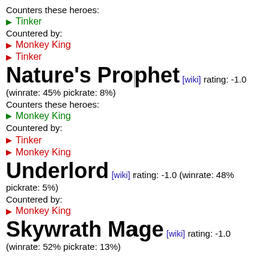Counters these heroes:
▶ Tinker
Countered by:
▶ Monkey King
▶ Tinker
Nature's Prophet [wiki] rating: -1.0 (winrate: 45% pickrate: 8%)
Counters these heroes:
▶ Monkey King
Countered by:
▶ Tinker
▶ Monkey King
Underlord [wiki] rating: -1.0 (winrate: 48% pickrate: 5%)
Countered by:
▶ Monkey King
Skywrath Mage [wiki] rating: -1.0 (winrate: 52% pickrate: 13%)